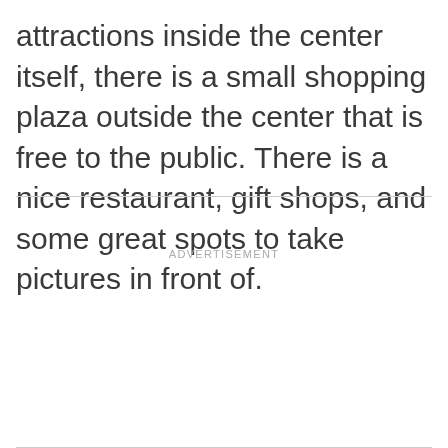attractions inside the center itself, there is a small shopping plaza outside the center that is free to the public. There is a nice restaurant, gift shops, and some great spots to take pictures in front of.
ADVERTISEMENT